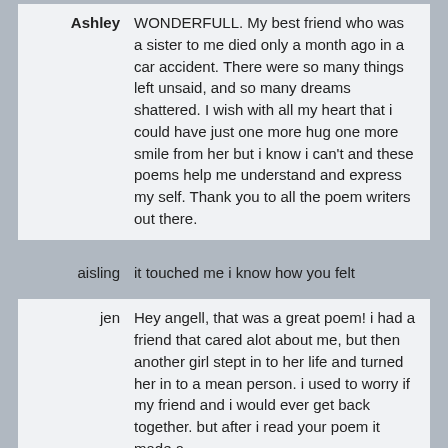Ashley: WONDERFULL. My best friend who was a sister to me died only a month ago in a car accident. There were so many things left unsaid, and so many dreams shattered. I wish with all my heart that i could have just one more hug one more smile from her but i know i can't and these poems help me understand and express my self. Thank you to all the poem writers out there.
aisling: it touched me i know how you felt
jen: Hey angell, that was a great poem! i had a friend that cared alot about me, but then another girl stept in to her life and turned her in to a mean person. i used to worry if my friend and i would ever get back together. but after i read your poem it made a